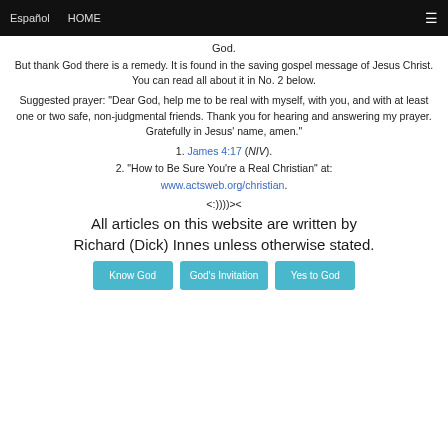Español   HOME   ☰
God.
But thank God there is a remedy. It is found in the saving gospel message of Jesus Christ. You can read all about it in No. 2 below.
Suggested prayer: "Dear God, help me to be real with myself, with you, and with at least one or two safe, non-judgmental friends. Thank you for hearing and answering my prayer. Gratefully in Jesus' name, amen."
1. James 4:17 (NIV).
2. "How to Be Sure You're a Real Christian" at: www.actsweb.org/christian.
<:))))><
All articles on this website are written by Richard (Dick) Innes unless otherwise stated.
Know God   God's Invitation   Yes to God